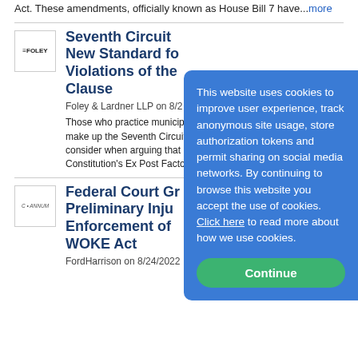Act. These amendments, officially known as House Bill 7 have...more
[Figure (logo): Foley & Lardner LLP logo]
Seventh Circuit New Standard for Violations of the Clause
Foley & Lardner LLP on 8/2
Those who practice municip... make up the Seventh Circuit... consider when arguing that a... Constitution's Ex Post Facto...
This website uses cookies to improve user experience, track anonymous site usage, store authorization tokens and permit sharing on social media networks. By continuing to browse this website you accept the use of cookies. Click here to read more about how we use cookies.
[Figure (logo): FordHarrison logo]
Federal Court Grants Preliminary Injunction Enforcement of WOKE Act
FordHarrison on 8/24/2022